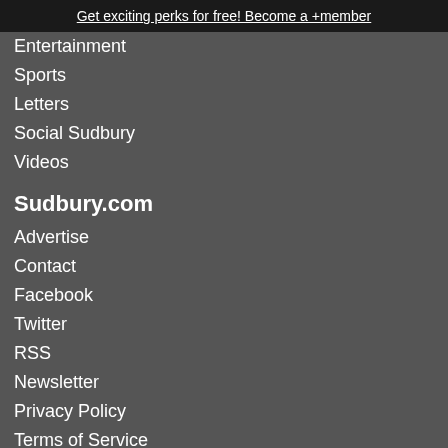Get exciting perks for free! Become a +member
Entertainment
Sports
Letters
Social Sudbury
Videos
Sudbury.com
Advertise
Contact
Facebook
Twitter
RSS
Newsletter
Privacy Policy
Terms of Service
[Figure (illustration): Advertisement banner for Nouvelon featuring a child with a backpack waving, colorful math symbols background on the left, and purple background on the right with text: PARTONS À L'AVENTURE! LET THE LEARNING BEGIN!]